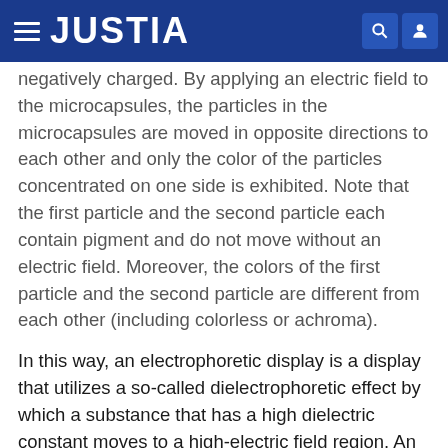JUSTIA
negatively charged. By applying an electric field to the microcapsules, the particles in the microcapsules are moved in opposite directions to each other and only the color of the particles concentrated on one side is exhibited. Note that the first particle and the second particle each contain pigment and do not move without an electric field. Moreover, the colors of the first particle and the second particle are different from each other (including colorless or achroma).
In this way, an electrophoretic display is a display that utilizes a so-called dielectrophoretic effect by which a substance that has a high dielectric constant moves to a high-electric field region. An electrophoretic display does not need a polarizer and a counter substrate, which are required in a liquid crystal display device, and both the thickness and weight of the electrophoretic display device can be a half of those of a liquid crystal